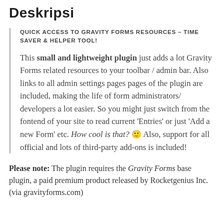Deskripsi
QUICK ACCESS TO GRAVITY FORMS RESOURCES – TIME SAVER & HELPER TOOL!

This small and lightweight plugin just adds a lot Gravity Forms related resources to your toolbar / admin bar. Also links to all admin settings pages pages of the plugin are included, making the life of form administrators/ developers a lot easier. So you might just switch from the fontend of your site to read current 'Entries' or just 'Add a new Form' etc. How cool is that? 🙂 Also, support for all official and lots of third-party add-ons is included!
Please note: The plugin requires the Gravity Forms base plugin, a paid premium product released by Rocketgenius Inc. (via gravityforms.com)